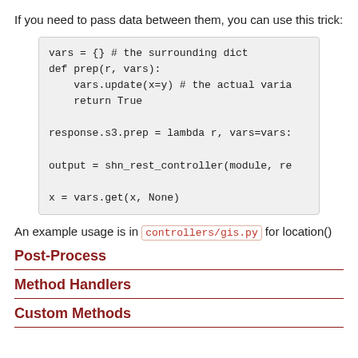If you need to pass data between them, you can use this trick:
[Figure (other): Code block showing Python snippet: vars = {} # the surrounding dict, def prep(r, vars): vars.update(x=y) # the actual varia, return True, response.s3.prep = lambda r, vars=vars:, output = shn_rest_controller(module, re, x = vars.get(x, None)]
An example usage is in controllers/gis.py for location()
Post-Process
Method Handlers
Custom Methods